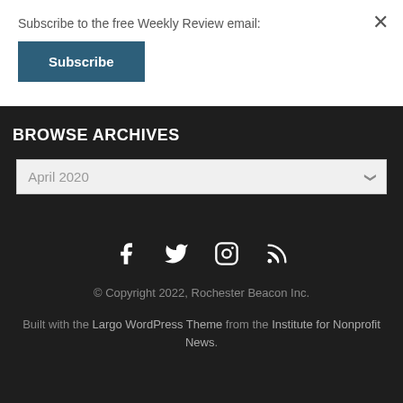Subscribe to the free Weekly Review email:
Subscribe
BROWSE ARCHIVES
April 2020
[Figure (other): Social media icons: Facebook, Twitter, Instagram, RSS]
© Copyright 2022, Rochester Beacon Inc.
Built with the Largo WordPress Theme from the Institute for Nonprofit News.